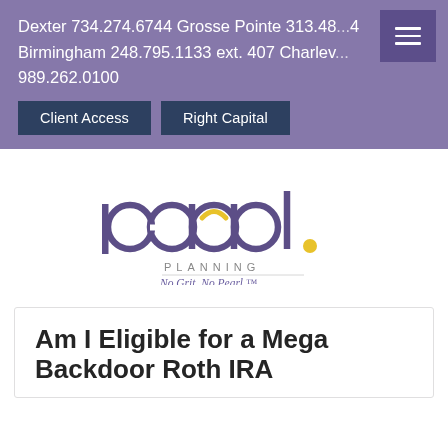Dexter 734.274.6744 Grosse Pointe 313.48...4 Birmingham 248.795.1133 ext. 407 Charlev... 989.262.0100
Client Access | Right Capital
[Figure (logo): Pearl Planning logo with stylized 'pearl.' text in purple, yellow dot accent, 'PLANNING' subtitle, and tagline 'No Grit. No Pearl.™']
Am I Eligible for a Mega Backdoor Roth IRA...